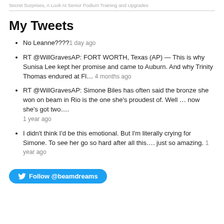Secret Surprises, A Look At Senior Podium Training and Upgrades
My Tweets
No Leanne???? 1 day ago
RT @WillGravesAP: FORT WORTH, Texas (AP) — This is why Sunisa Lee kept her promise and came to Auburn. And why Trinity Thomas endured at Fl… 4 months ago
RT @WillGravesAP: Simone Biles has often said the bronze she won on beam in Rio is the one she's proudest of. Well … now she's got two…. 1 year ago
I didn't think I'd be this emotional. But I'm literally crying for Simone. To see her go so hard after all this…. just so amazing. 1 year ago